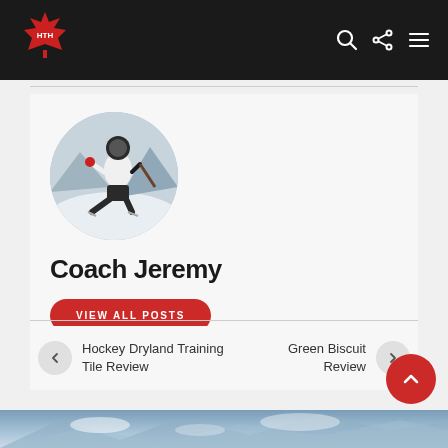Navigation bar with logo and icons
[Figure (photo): Circular profile photo of Coach Jeremy skating on ice in a white jersey]
Coach Jeremy
VIEW ALL POSTS
Hockey Dryland Training Tile Review
Green Biscuit Review